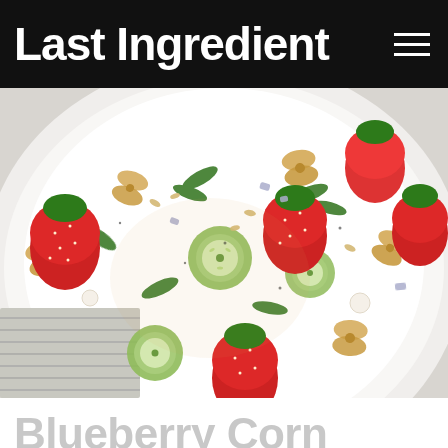Last Ingredient
[Figure (photo): Close-up overhead photo of a white plate with a pasta salad containing strawberries, cucumber slices, arugula, bowtie pasta, crumbled blue cheese, and chopped almonds, on a marble surface with a striped cloth napkin.]
Blueberry Corn Salad